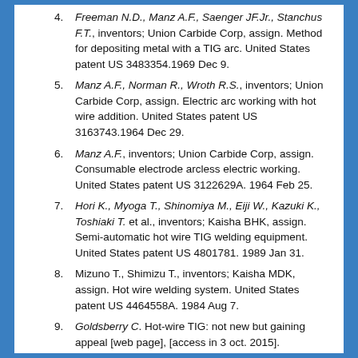Freeman N.D., Manz A.F., Saenger JF.Jr., Stanchus F.T., inventors; Union Carbide Corp, assign. Method for depositing metal with a TIG arc. United States patent US 3483354.1969 Dec 9.
Manz A.F., Norman R., Wroth R.S., inventors; Union Carbide Corp, assign. Electric arc working with hot wire addition. United States patent US 3163743.1964 Dec 29.
Manz A.F., inventors; Union Carbide Corp, assign. Consumable electrode arcless electric working. United States patent US 3122629A. 1964 Feb 25.
Hori K., Myoga T., Shinomiya M., Eiji W., Kazuki K., Toshiaki T. et al., inventors; Kaisha BHK, assign. Semi-automatic hot wire TIG welding equipment. United States patent US 4801781. 1989 Jan 31.
Mizuno T., Shimizu T., inventors; Kaisha MDK, assign. Hot wire welding system. United States patent US 4464558A. 1984 Aug 7.
Goldsberry C. Hot-wire TIG: not new but gaining appeal [web page], [access in 3 oct. 2015]. Cleveland: Welding Design & Fabrication; 2007. Available from: http://weldingdesign. com/archive/hot-wiretig-not-new-